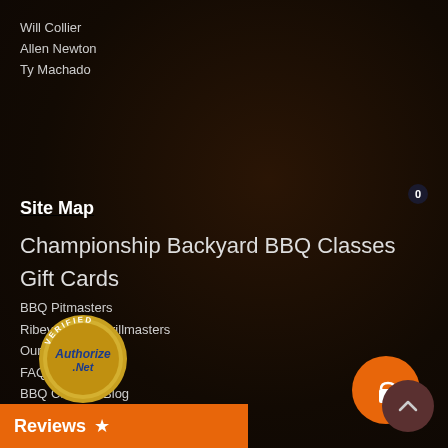Will Collier
Allen Newton
Ty Machado
Site Map
Championship Backyard BBQ Classes
Gift Cards
BBQ Pitmasters
Ribeye Steak Grillmasters
Our Founder
FAQs
BBQ Champs Blog
How To's
Alumni Success Stories
[Figure (logo): Authorize.Net Verified merchant seal/badge]
Reviews ★